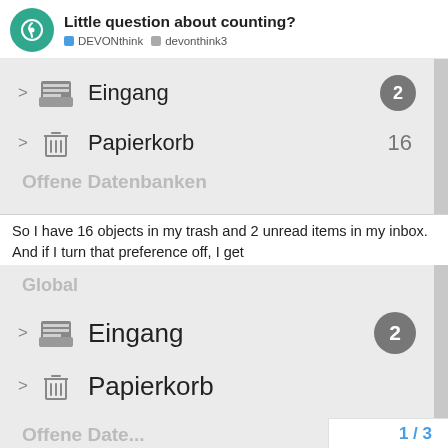Little question about counting? — DEVONthink · devonthink3
[Figure (screenshot): Screenshot of DEVONthink sidebar showing Eingang with badge 2, Papierkorb with count 16, and section label Offene Datenbanken]
So I have 16 objects in my trash and 2 unread items in my inbox.
And if I turn that preference off, I get
[Figure (screenshot): Screenshot of DEVONthink sidebar showing Global section, Eingang with badge 2, Papierkorb with no count, and partial Offene Datenbanken label]
1 / 3